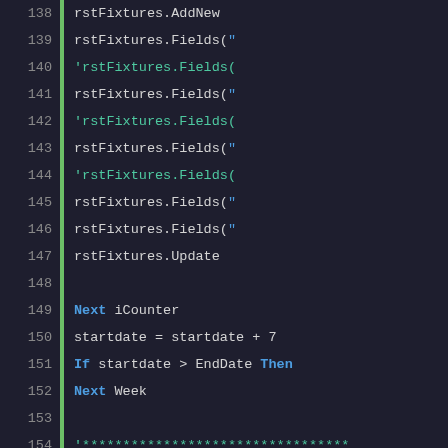[Figure (screenshot): Source code editor screenshot showing Visual Basic code lines 138-162 with syntax highlighting. Line numbers on left, green vertical bar, code with blue keywords and teal comments.]